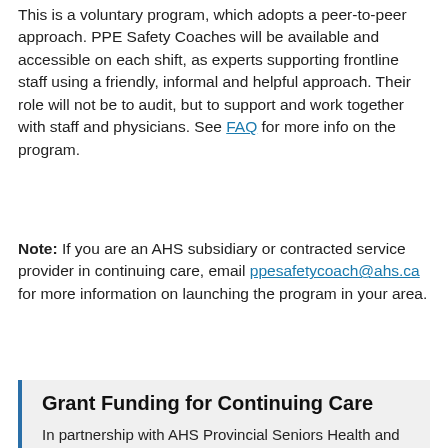This is a voluntary program, which adopts a peer-to-peer approach. PPE Safety Coaches will be available and accessible on each shift, as experts supporting frontline staff using a friendly, informal and helpful approach. Their role will not be to audit, but to support and work together with staff and physicians. See FAQ for more info on the program.
Note: If you are an AHS subsidiary or contracted service provider in continuing care, email ppesafetycoach@ahs.ca for more information on launching the program in your area.
Grant Funding for Continuing Care
In partnership with AHS Provincial Seniors Health and Continuing Care, reimbursement funding is available to support the rapid roll-out of the Provincial PPE Safety Coach Program at all contracted Long Term Care, Designated Supportive Living and Hospice sites in Alberta. Reimbursement